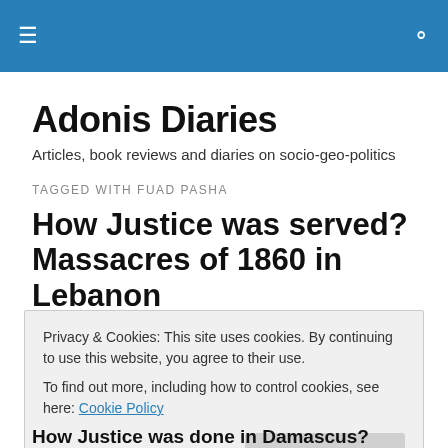≡  🔍
Adonis Diaries
Articles, book reviews and diaries on socio-geo-politics
TAGGED WITH FUAD PASHA
How Justice was served? Massacres of 1860 in Lebanon
Privacy & Cookies: This site uses cookies. By continuing to use this website, you agree to their use.
To find out more, including how to control cookies, see here: Cookie Policy
Close and accept
How Justice was done in Damascus?